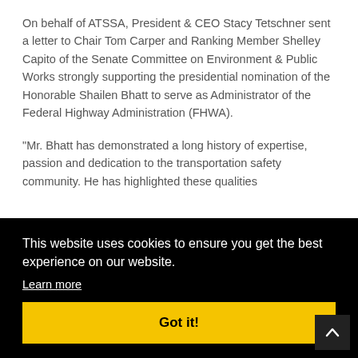On behalf of ATSSA, President & CEO Stacy Tetschner sent a letter to Chair Tom Carper and Ranking Member Shelley Capito of the Senate Committee on Environment & Public Works strongly supporting the presidential nomination of the Honorable Shailen Bhatt to serve as Administrator of the Federal Highway Administration (FHWA).
“Mr. Bhatt has demonstrated a long history of expertise, passion and dedication to the transportation safety community. He has highlighted these qualities [and] [in his] [work]
This website uses cookies to ensure you get the best experience on our website.
Learn more
Got it!